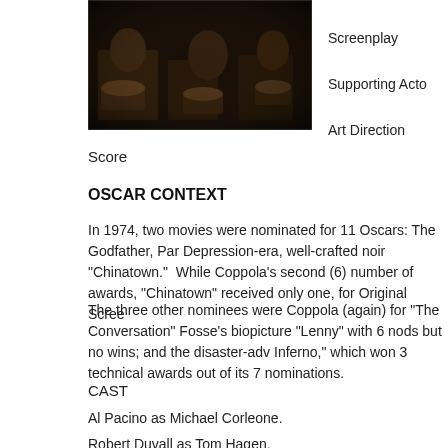[Figure (photo): Dark moody film still showing two figures seated with cylindrical objects/barrels, appears to be from The Godfather Part II]
Screenplay
Supporting Actor
Art Direction
Score
OSCAR CONTEXT
In 1974, two movies were nominated for 11 Oscars: The Godfather, Par Depression-era, well-crafted noir “Chinatown.”  While Coppola’s second (6) number of awards, “Chinatown” received only one, for Original Scree
The three other nominees were Coppola (again) for “The Conversation” Fosse’s biopicture “Lenny” with 6 nods but no wins; and the disaster-adv Inferno,” which won 3 technical awards out of its 7 nominations.
CAST
Al Pacino as Michael Corleone.
Robert Duvall as Tom Hagen.